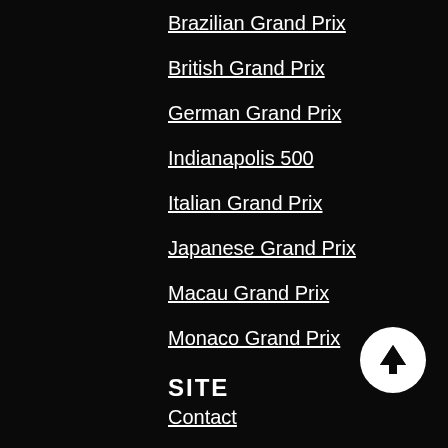Brazilian Grand Prix
British Grand Prix
German Grand Prix
Indianapolis 500
Italian Grand Prix
Japanese Grand Prix
Macau Grand Prix
Monaco Grand Prix
SITE
Contact
FAQ
Blog
XML Sitemap